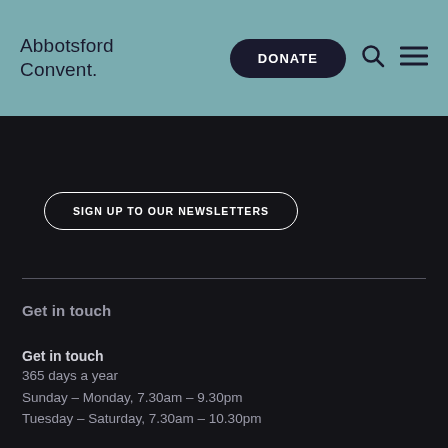Abbotsford Convent.
SIGN UP TO OUR NEWSLETTERS
Get in touch
Get in touch
365 days a year
Sunday – Monday, 7.30am – 9.30pm
Tuesday – Saturday, 7.30am – 10.30pm